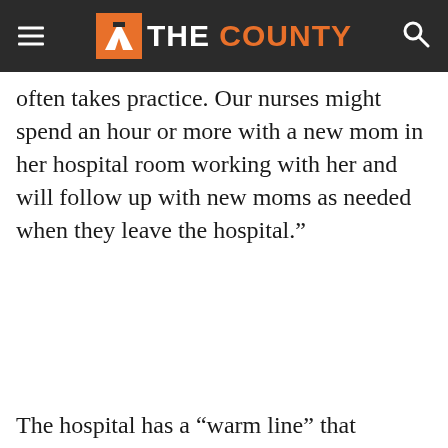THE COUNTY
often takes practice. Our nurses might spend an hour or more with a new mom in her hospital room working with her and will follow up with new moms as needed when they leave the hospital.”
The hospital has a “warm line” that